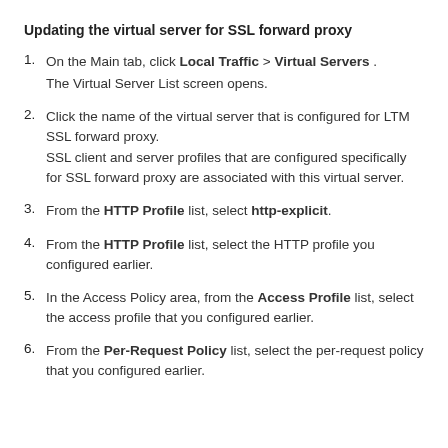Updating the virtual server for SSL forward proxy
On the Main tab, click Local Traffic > Virtual Servers . The Virtual Server List screen opens.
Click the name of the virtual server that is configured for LTM SSL forward proxy. SSL client and server profiles that are configured specifically for SSL forward proxy are associated with this virtual server.
From the HTTP Profile list, select http-explicit.
From the HTTP Profile list, select the HTTP profile you configured earlier.
In the Access Policy area, from the Access Profile list, select the access profile that you configured earlier.
From the Per-Request Policy list, select the per-request policy that you configured earlier.